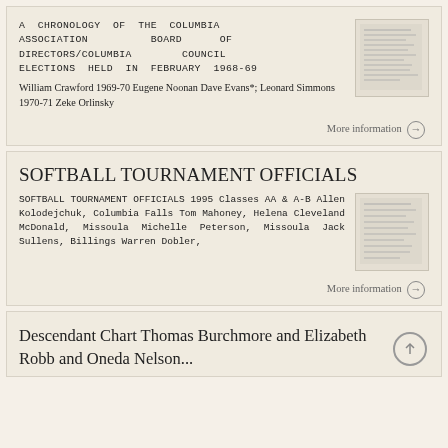A CHRONOLOGY OF THE COLUMBIA ASSOCIATION BOARD OF DIRECTORS/COLUMBIA COUNCIL ELECTIONS HELD IN FEBRUARY 1968-69 William Crawford 1969-70 Eugene Noonan Dave Evans*; Leonard Simmons 1970-71 Zeke Orlinsky
More information →
SOFTBALL TOURNAMENT OFFICIALS
SOFTBALL TOURNAMENT OFFICIALS 1995 Classes AA & A-B Allen Kolodejchuk, Columbia Falls Tom Mahoney, Helena Cleveland McDonald, Missoula Michelle Peterson, Missoula Jack Sullens, Billings Warren Dobler,
More information →
Descendant Chart Thomas Burchmore and Elizabeth Robb and Oneda Nelson...